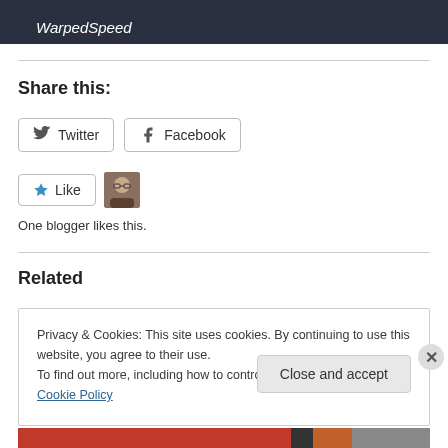[Figure (photo): Dark background banner with italic white text reading WarpedSpeed]
Share this:
[Figure (screenshot): Twitter and Facebook share buttons with icons]
[Figure (screenshot): Like button with star icon and a blogger avatar thumbnail]
One blogger likes this.
Related
Privacy & Cookies: This site uses cookies. By continuing to use this website, you agree to their use.
To find out more, including how to control cookies, see here: Cookie Policy
Close and accept